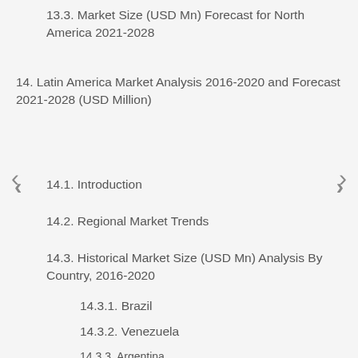13.3. Market Size (USD Mn) Forecast for North America 2021-2028
14. Latin America Market Analysis 2016-2020 and Forecast 2021-2028 (USD Million)
14.1. Introduction
14.2. Regional Market Trends
14.3. Historical Market Size (USD Mn) Analysis By Country, 2016-2020
14.3.1. Brazil
14.3.2. Venezuela
14.3.3. Argentina
14.3.4. Rest of Latin America
14.4 Market Size (USD Mn) Forecast for